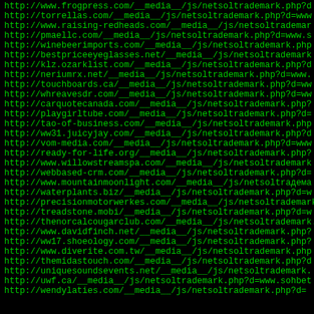List of URLs referencing netsoltrademark.php across various domains